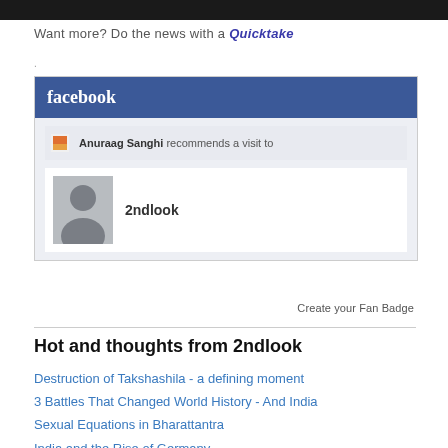[Figure (screenshot): Dark top navigation bar from a website]
Want more? Do the news with a Quicktake
.
[Figure (screenshot): Facebook fan badge widget showing Anuraag Sanghi recommends a visit to 2ndlook page]
Create your Fan Badge
Hot and thoughts from 2ndlook
Destruction of Takshashila - a defining moment
3 Battles That Changed World History - And India
Sexual Equations in Bharattantra
India and the Rise of Germany
Britain - The Rise of a Pirate Empire